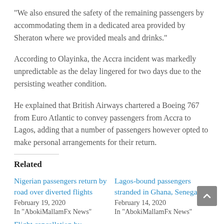“We also ensured the safety of the remaining passengers by accommodating them in a dedicated area provided by Sheraton where we provided meals and drinks.”
According to Olayinka, the Accra incident was markedly unpredictable as the delay lingered for two days due to the persisting weather condition.
He explained that British Airways chartered a Boeing 767 from Euro Atlantic to convey passengers from Accra to Lagos, adding that a number of passengers however opted to make personal arrangements for their return.
Related
Nigerian passengers return by road over diverted flights
February 19, 2020
In "AbokiMallamFx News"
Lagos-bound passengers stranded in Ghana, Senegal
February 14, 2020
In "AbokiMallamFx News"
Flight cancellation by